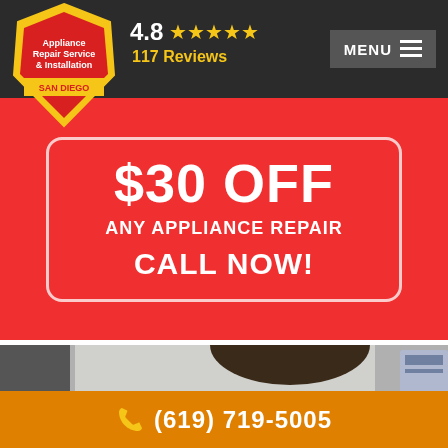[Figure (logo): Appliance Repair Service & Installation San Diego shield/badge logo in yellow and red]
4.8 ★★★★★ 117 Reviews
MENU ≡
$30 OFF ANY APPLIANCE REPAIR CALL NOW!
[Figure (photo): Person looking at an appliance, with cleaning supplies in background]
(619) 719-5005